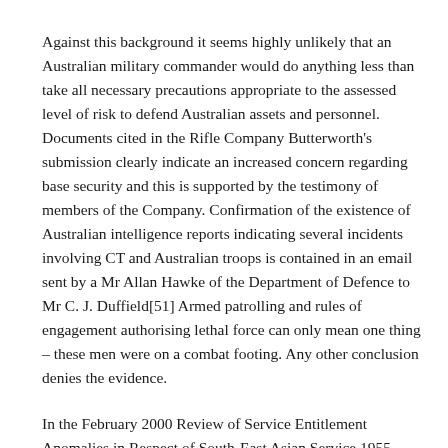Against this background it seems highly unlikely that an Australian military commander would do anything less than take all necessary precautions appropriate to the assessed level of risk to defend Australian assets and personnel. Documents cited in the Rifle Company Butterworth's submission clearly indicate an increased concern regarding base security and this is supported by the testimony of members of the Company. Confirmation of the existence of Australian intelligence reports indicating several incidents involving CT and Australian troops is contained in an email sent by a Mr Allan Hawke of the Department of Defence to Mr C. J. Duffield[51] Armed patrolling and rules of engagement authorising lethal force can only mean one thing – these men were on a combat footing. Any other conclusion denies the evidence.
In the February 2000 Review of Service Entitlement Anomalies in Respect of South-East Asian Service 1955-1975[52] Justice Mohr addressed the matter of this time, but as Mr Mohr states...